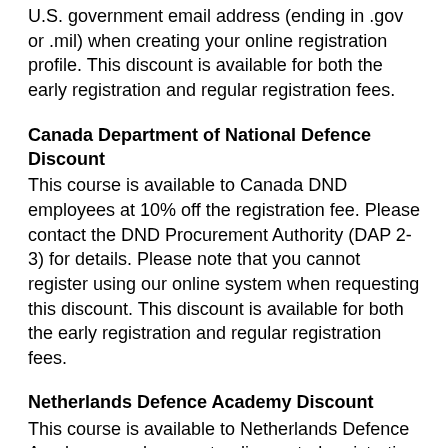U.S. government email address (ending in .gov or .mil) when creating your online registration profile. This discount is available for both the early registration and regular registration fees.
Canada Department of National Defence Discount
This course is available to Canada DND employees at 10% off the registration fee. Please contact the DND Procurement Authority (DAP 2-3) for details. Please note that you cannot register using our online system when requesting this discount. This discount is available for both the early registration and regular registration fees.
Netherlands Defence Academy Discount
This course is available to Netherlands Defence Academy employees at a discounted registration fee. Please contact the NDA Procurement and Contracting department for details. Please note that you cannot register using our online system when requesting this